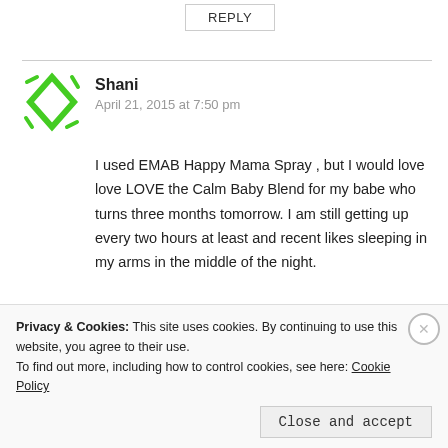REPLY
Shani
April 21, 2015 at 7:50 pm
I used EMAB Happy Mama Spray , but I would love love LOVE the Calm Baby Blend for my babe who turns three months tomorrow. I am still getting up every two hours at least and recent likes sleeping in my arms in the middle of the night.
★ Like
Privacy & Cookies: This site uses cookies. By continuing to use this website, you agree to their use.
To find out more, including how to control cookies, see here: Cookie Policy
Close and accept